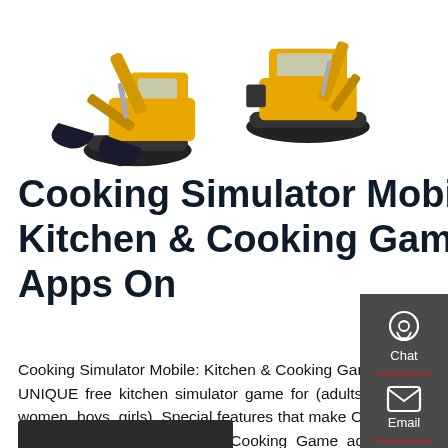[Figure (photo): Two yellow construction excavators/diggers on white background]
Cooking Simulator Mobile: Kitchen & Cooking Game - Apps On
Cooking Simulator Mobile: Kitchen & Cooking Game is a UNIQUE free kitchen simulator game for (adults, men, women, boys, girls). Special features that make Cooking Simulator Mobile: Kitchen & Cooking Game addictive and fun: Unlock advanced recipes, make delicious food and become a legendary virtual chef. Stunning graphics and
[Figure (infographic): Sidebar with Chat, Email, and Contact icons on dark gray background]